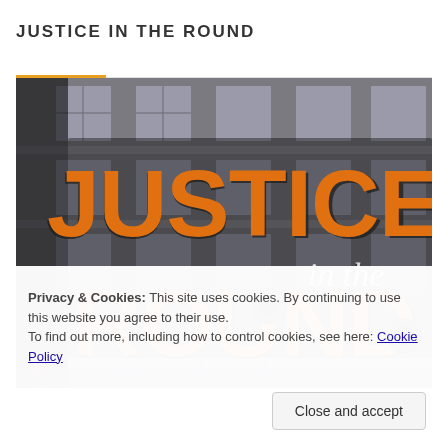JUSTICE IN THE ROUND
[Figure (photo): Book cover image showing 'Justice in the Round' in large orange graffiti-style text over a black and gray background of a building facade. The left side shows a vertical text spine reading 'JUSTICE IN THE ROUND'. Blue cursive signatures are visible at the bottom.]
Privacy & Cookies: This site uses cookies. By continuing to use this website you agree to their use.
To find out more, including how to control cookies, see here: Cookie Policy
Close and accept